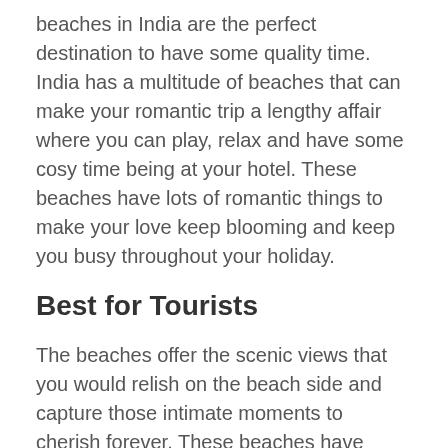beaches in India are the perfect destination to have some quality time. India has a multitude of beaches that can make your romantic trip a lengthy affair where you can play, relax and have some cosy time being at your hotel. These beaches have lots of romantic things to make your love keep blooming and keep you busy throughout your holiday.
Best for Tourists
The beaches offer the scenic views that you would relish on the beach side and capture those intimate moments to cherish forever. These beaches have numerous tourism activities that you can find pleasure in are snorkeling, scuba diving, boating, underwater sea walk, jet skiing and a lot more. India has the prettiest number of beaches with beauty that